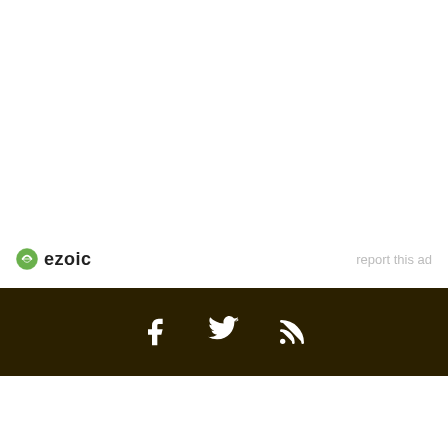[Figure (logo): Ezoic logo with green circular icon and bold 'ezoic' text, alongside light gray 'report this ad' link on the right]
Social media icons: Facebook, Twitter, RSS feed on dark brown/black footer bar